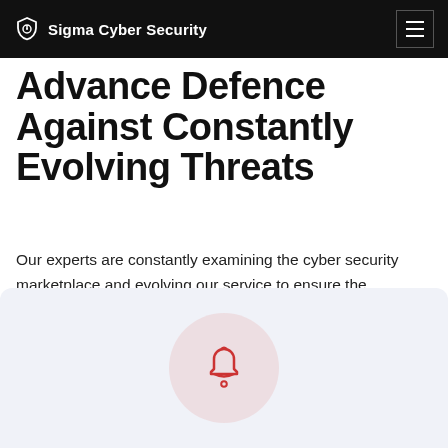Sigma Cyber Security
Advance Defence Against Constantly Evolving Threats
Our experts are constantly examining the cyber security marketplace and evolving our service to ensure the maximum levels of protection both for our clients and our own business.
[Figure (illustration): Bell/notification icon inside a light pink circle, on a light lavender-gray card background]